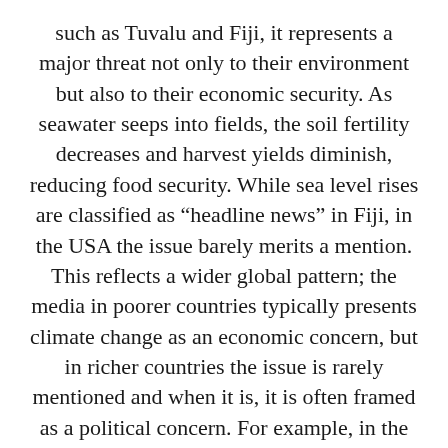such as Tuvalu and Fiji, it represents a major threat not only to their environment but also to their economic security. As seawater seeps into fields, the soil fertility decreases and harvest yields diminish, reducing food security. While sea level rises are classified as “headline news” in Fiji, in the USA the issue barely merits a mention. This reflects a wider global pattern; the media in poorer countries typically presents climate change as an economic concern, but in richer countries the issue is rarely mentioned and when it is, it is often framed as a political concern. For example, in the USA in 2018 environmental matters accounted for only 142 minutes of total combined coverage from major news outlets